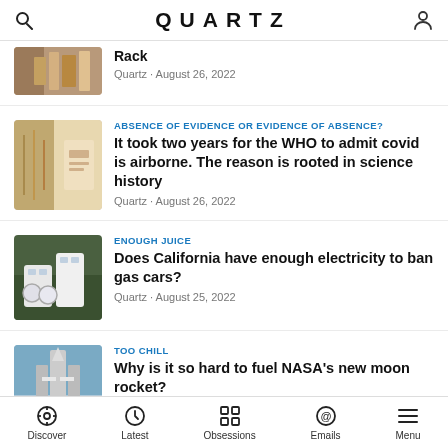QUARTZ
Rack
Quartz · August 26, 2022
ABSENCE OF EVIDENCE OR EVIDENCE OF ABSENCE?
It took two years for the WHO to admit covid is airborne. The reason is rooted in science history
Quartz · August 26, 2022
ENOUGH JUICE
Does California have enough electricity to ban gas cars?
Quartz · August 25, 2022
TOO CHILL
Why is it so hard to fuel NASA's new moon rocket?
Discover  Latest  Obsessions  Emails  Menu